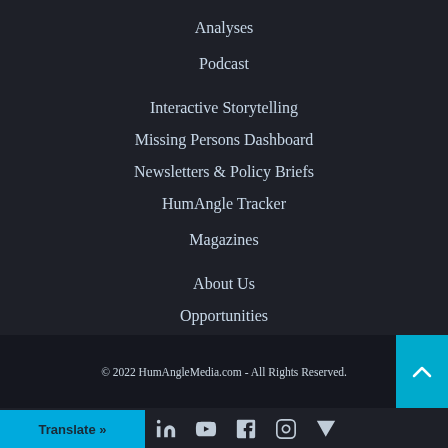Analyses
Podcast
Interactive Storytelling
Missing Persons Dashboard
Newsletters & Policy Briefs
HumAngle Tracker
Magazines
About Us
Opportunities
© 2022 HumAngleMedia.com - All Rights Reserved.
Translate »